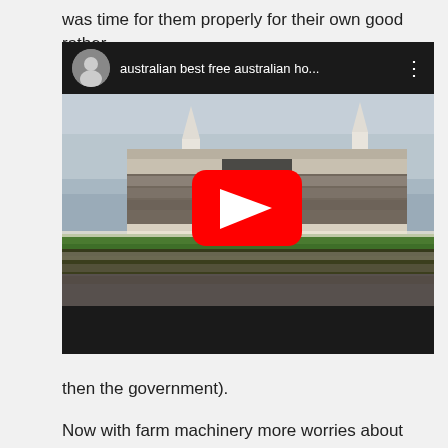was time for them properly for their own good rather
[Figure (screenshot): Embedded YouTube video player showing a video titled 'australian best free australian ho...' with a thumbnail of a horse racing event stadium with a marching band, featuring a red YouTube play button in the center. The video player has a dark header with a user avatar and a dark bottom bar.]
then the government).
Now with farm machinery more worries about some